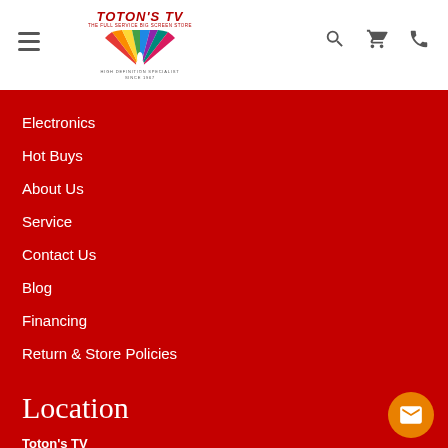[Figure (logo): Toton's TV logo with colorful fan/peacock design and text 'HIGH DEFINITION SPECIALIST SINCE 1967']
Electronics
Hot Buys
About Us
Service
Contact Us
Blog
Financing
Return & Store Policies
Location
Toton's TV
2001 Leness Ln.